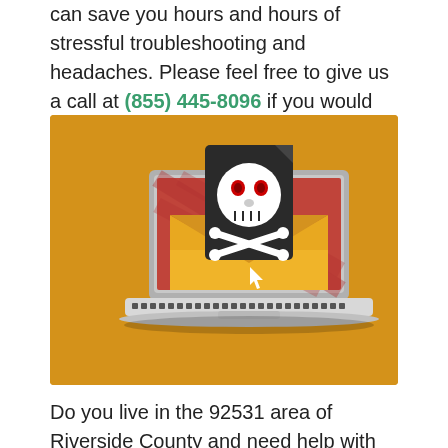can save you hours and hours of stressful troubleshooting and headaches. Please feel free to give us a call at (855) 445-8096 if you would like our tech support to help you.
[Figure (illustration): Illustration on a golden/amber background showing a laptop computer with a red screen, and an open yellow envelope in front of it containing a dark document with a skull and crossbones symbol (pirate/danger icon with red eyes). A cursor arrow points at the envelope, indicating a malicious email or phishing threat.]
Do you live in the 92531 area of Riverside County and need help with cleaning up your computer?